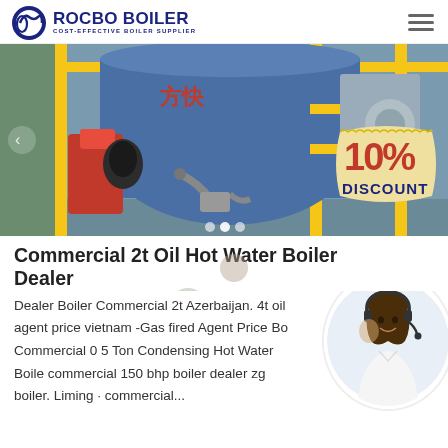[Figure (logo): Rocbo Boiler logo with circular icon and text: ROCBO BOILER, COST-EFFECTIVE BOILER SUPPLIER]
[Figure (photo): Industrial boiler room showing large blue cylindrical boilers with yellow scaffolding, red burner unit, and Chinese characters on boiler. 10% DISCOUNT badge overlay in bottom right.]
Commercial 2t Oil Hot Water Boiler Dealer
Dealer Boiler Commercial 2t Azerbaijan. 4t oil agent price vietnam -Gas fired Agent Price Bo Commercial 0 5 Ton Condensing Hot Water Boile commercial 150 bhp boiler dealer zg boiler. Liming · commercial...